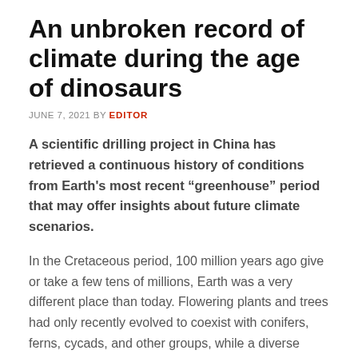An unbroken record of climate during the age of dinosaurs
JUNE 7, 2021 BY EDITOR
A scientific drilling project in China has retrieved a continuous history of conditions from Earth's most recent “greenhouse” period that may offer insights about future climate scenarios.
In the Cretaceous period, 100 million years ago give or take a few tens of millions, Earth was a very different place than today. Flowering plants and trees had only recently evolved to coexist with conifers, ferns, cycads, and other groups, while a diverse array of dinosaurs was the dominant form of